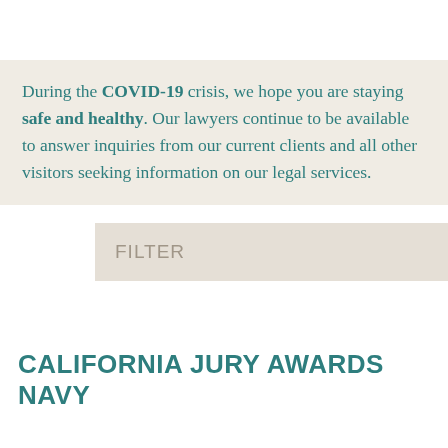During the COVID-19 crisis, we hope you are staying safe and healthy. Our lawyers continue to be available to answer inquiries from our current clients and all other visitors seeking information on our legal services.
FILTER
CALIFORNIA JURY AWARDS NAVY